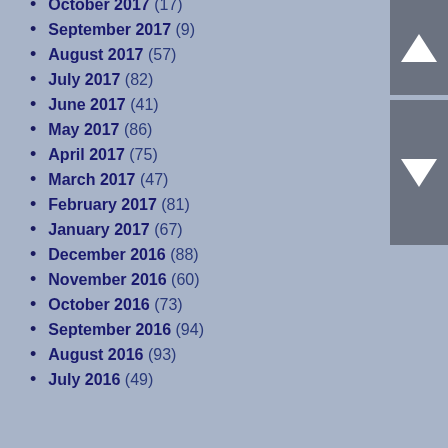October 2017 (17)
September 2017 (9)
August 2017 (57)
July 2017 (82)
June 2017 (41)
May 2017 (86)
April 2017 (75)
March 2017 (47)
February 2017 (81)
January 2017 (67)
December 2016 (88)
November 2016 (60)
October 2016 (73)
September 2016 (94)
August 2016 (93)
July 2016 (49)